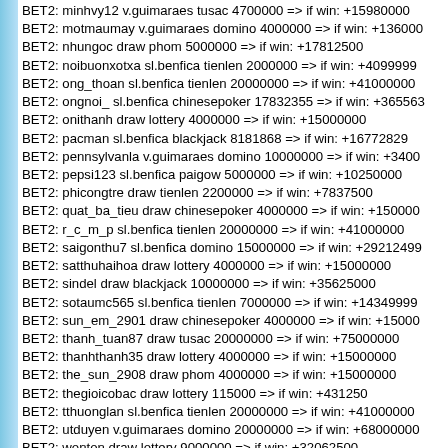BET2: minhvy12 v.guimaraes tusac 4700000 => if win: +15980000
BET2: motmaumay v.guimaraes domino 4000000 => if win: +136000
BET2: nhungoc draw phom 5000000 => if win: +17812500
BET2: noibuonxotxa sl.benfica tienlen 2000000 => if win: +4099999
BET2: ong_thoan sl.benfica tienlen 20000000 => if win: +41000000
BET2: ongnoi_ sl.benfica chinesepoker 17832355 => if win: +365563
BET2: onithanh draw lottery 4000000 => if win: +15000000
BET2: pacman sl.benfica blackjack 8181868 => if win: +16772829
BET2: pennsylvanla v.guimaraes domino 10000000 => if win: +3400
BET2: pepsi123 sl.benfica paigow 5000000 => if win: +10250000
BET2: phicongtre draw tienlen 2200000 => if win: +7837500
BET2: quat_ba_tieu draw chinesepoker 4000000 => if win: +150000
BET2: r_c_m_p sl.benfica tienlen 20000000 => if win: +41000000
BET2: saigonthu7 sl.benfica domino 15000000 => if win: +29212499
BET2: satthuhaihoa draw lottery 4000000 => if win: +15000000
BET2: sindel draw blackjack 10000000 => if win: +35625000
BET2: sotaumc565 sl.benfica tienlen 7000000 => if win: +14349999
BET2: sun_em_2901 draw chinesepoker 4000000 => if win: +15000
BET2: thanh_tuan87 draw tusac 20000000 => if win: +75000000
BET2: thanhthanh35 draw lottery 4000000 => if win: +15000000
BET2: the_sun_2908 draw phom 4000000 => if win: +15000000
BET2: thegioicobac draw lottery 115000 => if win: +431250
BET2: tthuonglan sl.benfica tienlen 20000000 => if win: +41000000
BET2: utduyen v.guimaraes domino 20000000 => if win: +68000000
BET2: wonton draw lottery 9000000 => if win: +32062500
BET2: xem_phim sl.benfica tienlen 20000000 => if win: +41000000
BET2: youtiao draw lottery 6000000 => if win: +21375000
<1>***<12> Betting2 ends, the winning bet is sl.benfica. Winning amo lkbangtam ongnoi_ galangtinhxu cakeo juleetruong9 r_c_m_p tthuon